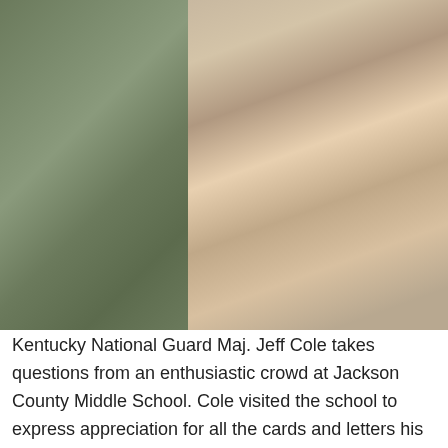[Figure (photo): A soldier in camouflage uniform stands at left while enthusiastic middle school children sit in bleachers raising their hands at right during a school visit.]
Kentucky National Guard Maj. Jeff Cole takes questions from an enthusiastic crowd at Jackson County Middle School. Cole visited the school to express appreciation for all the cards and letters his troops received during their deployment last year to Iraq in support of Operation New Dawn. (Photo by Grace Todd McKenzie, Jackson County Middle School Academic Specialist) Click here for more photos. McKEE, Ky. -- As any Soldier can tell you, there's nothing like a little bit of news from home to take the edge off a military